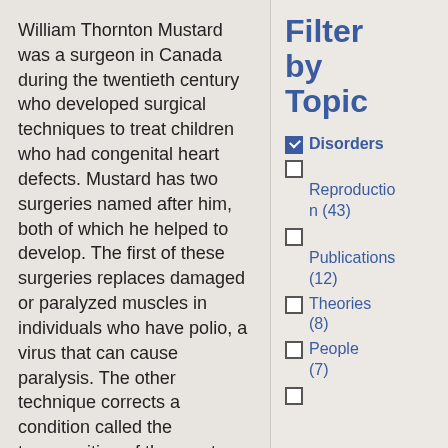William Thornton Mustard was a surgeon in Canada during the twentieth century who developed surgical techniques to treat children who had congenital heart defects. Mustard has two surgeries named after him, both of which he helped to develop. The first of these surgeries replaces damaged or paralyzed muscles in individuals who have polio, a virus that can cause paralysis. The other technique corrects a condition called the transposition of the great arteries (TGA) that is noticed at birth.
Filter by Topic
Disorders (checked)
Reproduction (43)
Publications (12)
Theories (8)
People (7)